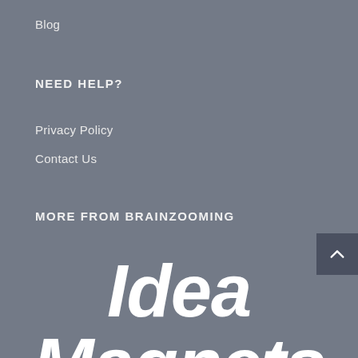Blog
NEED HELP?
Privacy Policy
Contact Us
MORE FROM BRAINZOOMING
Idea Magnets